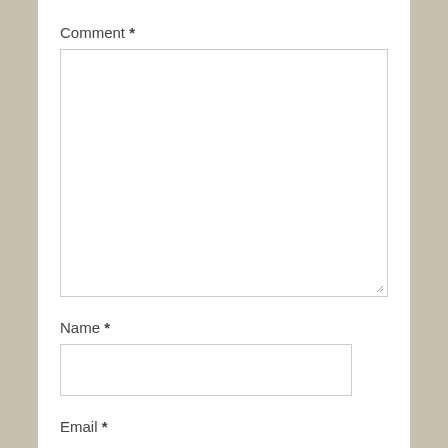Comment *
[Figure (other): Empty comment textarea input box with resize handle in bottom-right corner]
Name *
[Figure (other): Empty name text input box]
Email *